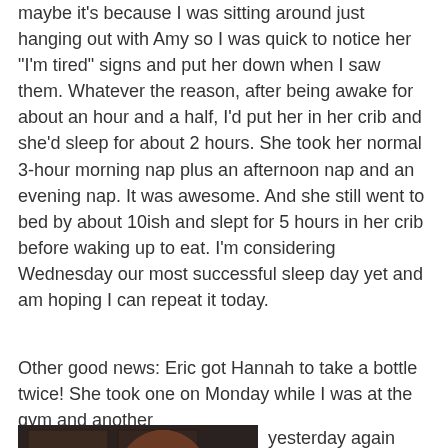maybe it's because I was sitting around just hanging out with Amy so I was quick to notice her "I'm tired" signs and put her down when I saw them. Whatever the reason, after being awake for about an hour and a half, I'd put her in her crib and she'd sleep for about 2 hours. She took her normal 3-hour morning nap plus an afternoon nap and an evening nap. It was awesome. And she still went to bed by about 10ish and slept for 5 hours in her crib before waking up to eat. I'm considering Wednesday our most successful sleep day yet and am hoping I can repeat it today.
Other good news: Eric got Hannah to take a bottle twice! She took one on Monday while I was at the gym and another yesterday again while I was at the gym. I'm not sure what his trick is; when I asked, he just said that he fiddled a lot with the temperature (did I mention that
[Figure (photo): A woman with long brown hair holding a baby dressed in white. The woman is looking down at the baby. The background appears to be a kitchen or indoor setting with dark cabinetry visible.]